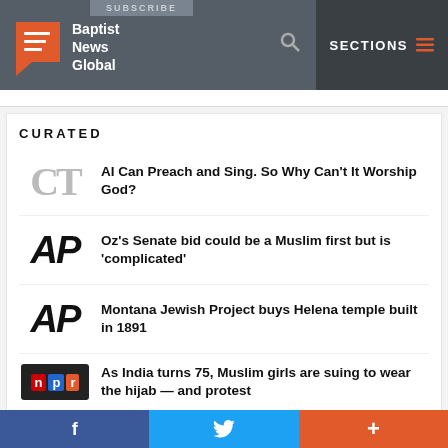Baptist News Global — SUBSCRIBE — SECTIONS
CURATED
AI Can Preach and Sing. So Why Can't It Worship God?
Oz's Senate bid could be a Muslim first but is 'complicated'
Montana Jewish Project buys Helena temple built in 1891
As India turns 75, Muslim girls are suing to wear the hijab — and protest
f  Twitter  +